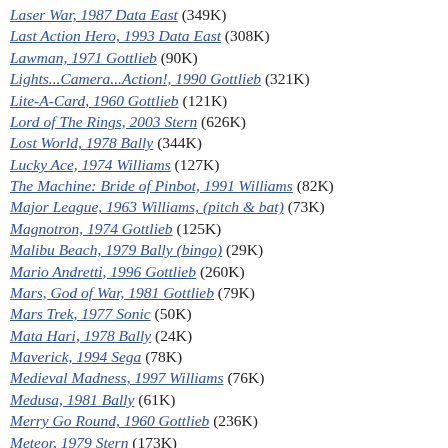Laser War, 1987 Data East (349K)
Last Action Hero, 1993 Data East (308K)
Lawman, 1971 Gottlieb (90K)
Lights...Camera...Action!, 1990 Gottlieb (321K)
Lite-A-Card, 1960 Gottlieb (121K)
Lord of The Rings, 2003 Stern (626K)
Lost World, 1978 Bally (344K)
Lucky Ace, 1974 Williams (127K)
The Machine: Bride of Pinbot, 1991 Williams (82K)
Major League, 1963 Williams, (pitch & bat) (73K)
Magnotron, 1974 Gottlieb (125K)
Malibu Beach, 1979 Bally (bingo) (29K)
Mario Andretti, 1996 Gottlieb (260K)
Mars, God of War, 1981 Gottlieb (79K)
Mars Trek, 1977 Sonic (50K)
Mata Hari, 1978 Bally (24K)
Maverick, 1994 Sega (78K)
Medieval Madness, 1997 Williams (76K)
Medusa, 1981 Bally (61K)
Merry Go Round, 1960 Gottlieb (236K)
Meteor, 1979 Stern (173K)
Mibs, 1969 Gottlieb (163K)
Middle Earth, 1978 Atari* (63K)
Monday Night Football, 1989 Data East (214K)
Monopoly, 2001 Stern (141K)